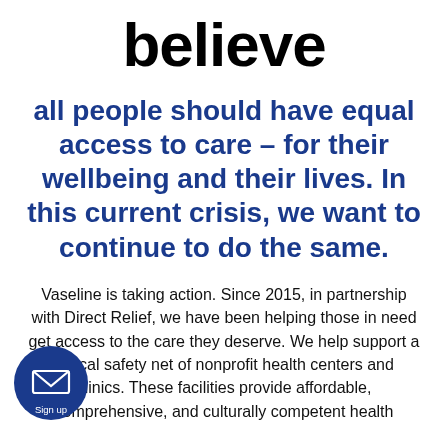believe
all people should have equal access to care – for their wellbeing and their lives. In this current crisis, we want to continue to do the same.
Vaseline is taking action. Since 2015, in partnership with Direct Relief, we have been helping those in need get access to the care they deserve. We help support a critical safety net of nonprofit health centers and clinics. These facilities provide affordable, comprehensive, and culturally competent health
[Figure (illustration): Dark blue circular sign-up button with envelope icon and 'Sign up' text label]